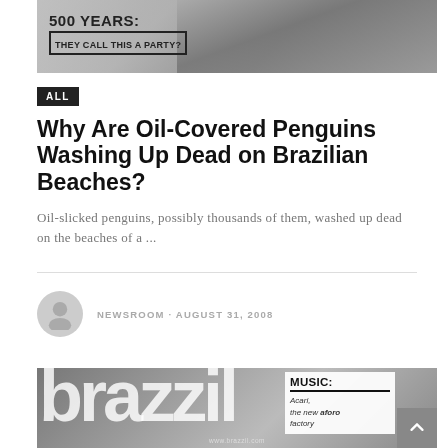[Figure (photo): Black and white close-up photo with overlay text reading '500 YEARS: THEY CALL THIS A PARTY?']
ALL
Why Are Oil-Covered Penguins Washing Up Dead on Brazilian Beaches?
Oil-slicked penguins, possibly thousands of them, washed up dead on the beaches of a ...
NEWSROOM · AUGUST 31, 2008
[Figure (photo): Black and white image with large 'brazzil' text logo and a music box overlay reading 'MUSIC: Acari, the new aforo factory']